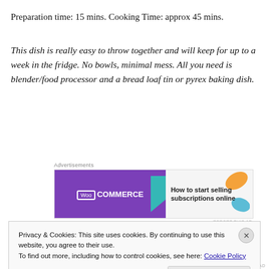Preparation time: 15 mins. Cooking Time: approx 45 mins.
This dish is really easy to throw together and will keep for up to a week in the fridge. No bowls, minimal mess. All you need is blender/food processor and a bread loaf tin or pyrex baking dish.
[Figure (other): WooCommerce advertisement banner: 'How to start selling subscriptions online']
(Makes 1 large terrine loaf)
Privacy & Cookies: This site uses cookies. By continuing to use this website, you agree to their use. To find out more, including how to control cookies, see here: Cookie Policy